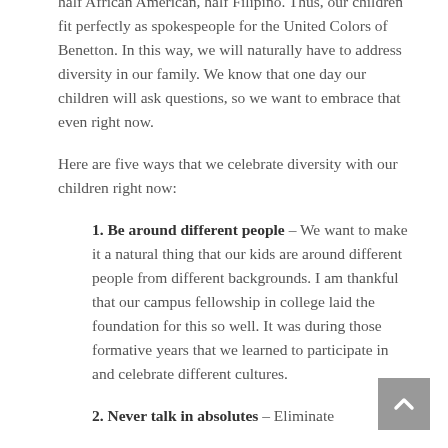half African American, half Filipino. Thus, our children fit perfectly as spokespeople for the United Colors of Benetton. In this way, we will naturally have to address diversity in our family. We know that one day our children will ask questions, so we want to embrace that even right now.
Here are five ways that we celebrate diversity with our children right now:
1. Be around different people – We want to make it a natural thing that our kids are around different people from different backgrounds. I am thankful that our campus fellowship in college laid the foundation for this so well. It was during those formative years that we learned to participate in and celebrate different cultures.
2. Never talk in absolutes – Eliminate